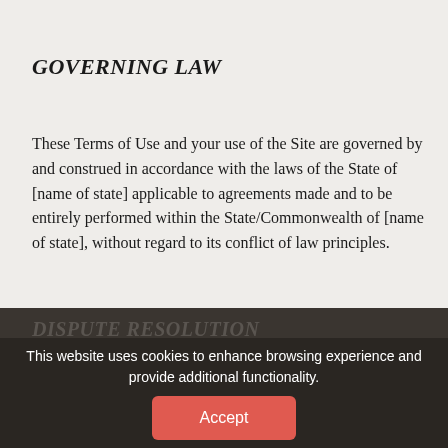GOVERNING LAW
These Terms of Use and your use of the Site are governed by and construed in accordance with the laws of the State of [name of state] applicable to agreements made and to be entirely performed within the State/Commonwealth of [name of state], without regard to its conflict of law principles.
DISPUTE RESOLUTION
Option 1. Any legal action of whatever nature brought by either you or us (collectively, "Parties" and individually a "Party") shall be commenced or prosecuted in the state
This website uses cookies to enhance browsing experience and provide additional functionality.